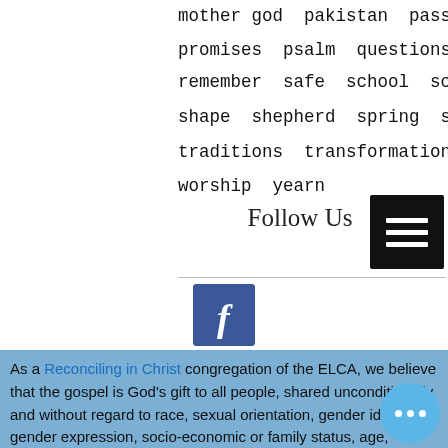mother god  pakistan  passion  power
promises  psalm  questions  reformation
remember  safe  school  scripture  self-control
shape  shepherd  spring  stories  symbols
traditions  transformation  trees  witness
worship  yearn
Follow Us
[Figure (logo): Facebook icon button (blue square with white 'f')]
As a Reconciling in Christ congregation of the ELCA, we believe that the gospel is God's gift to all people, shared unconditionally and without regard to race, sexual orientation, gender identity, gender expression, socio-economic or family status, age, physical or mental abilities, outward appearance, or religious affiliation. We seek racial equity and justice. In this way, we live into the vision written in Ephesians (2:14)—that Christ breaks down the dividing walls between us.